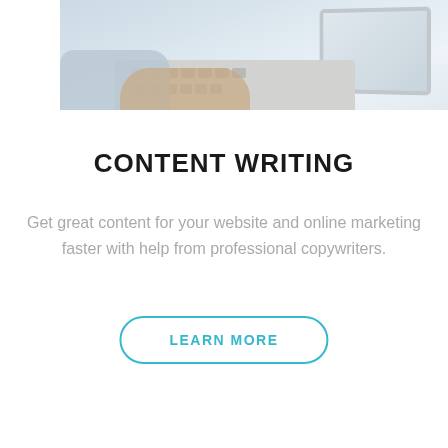[Figure (photo): Person's hands typing on a laptop keyboard, viewed from above at an angle, light/muted color tones]
CONTENT WRITING
Get great content for your website and online marketing faster with help from professional copywriters.
LEARN MORE